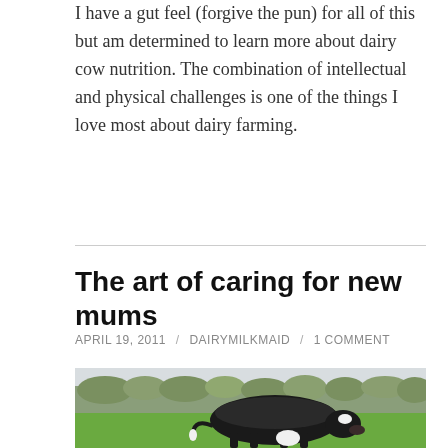I have a gut feel (forgive the pun) for all of this but am determined to learn more about dairy cow nutrition. The combination of intellectual and physical challenges is one of the things I love most about dairy farming.
The art of caring for new mums
APRIL 19, 2011 / DAIRYMILKMAID / 1 COMMENT
[Figure (photo): A black and white dairy cow wearing a black cover/jacket, standing on green grass in a paddock with trees in the background.]